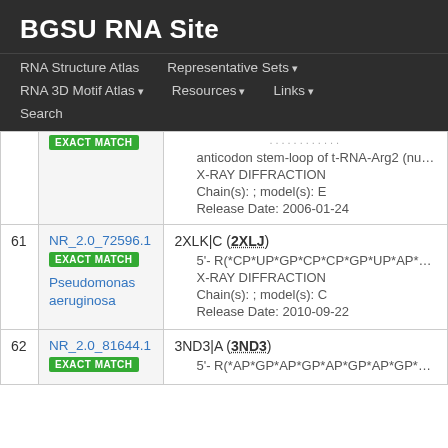BGSU RNA Site
RNA Structure Atlas | Representative Sets ▾ | RNA 3D Motif Atlas ▾ | Resources ▾ | Links ▾ | Search
| # | ID / Match | Structure Info |
| --- | --- | --- |
|  | EXACT MATCH | anticodon stem-loop of t-RNA-Arg2 (nucle[...] • X-RAY DIFFRACTION • Chain(s): ; model(s): E • Release Date: 2006-01-24 |
| 61 | NR_2.0_72596.1 EXACT MATCH Pseudomonas aeruginosa | 2XLK|C (2XLJ) • 5'- R(*CP*UP*GP*CP*CP*GP*UP*AP*UP*AP*... • X-RAY DIFFRACTION • Chain(s): ; model(s): C • Release Date: 2010-09-22 |
| 62 | NR_2.0_81644.1 EXACT MATCH | 3ND3|A (3ND3) • 5'- R(*AP*GP*AP*GP*AP*GP*AP*GP*UP*UP*... |